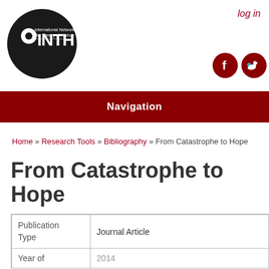[Figure (logo): INTH International Network for Theory of History circular black logo]
log in
[Figure (logo): Facebook and Twitter social media icons in dark red circles]
Navigation
Home » Research Tools » Bibliography » From Catastrophe to Hope
From Catastrophe to Hope
| Field | Value |
| --- | --- |
| Publication Type | Journal Article |
| Year of | 2014 |